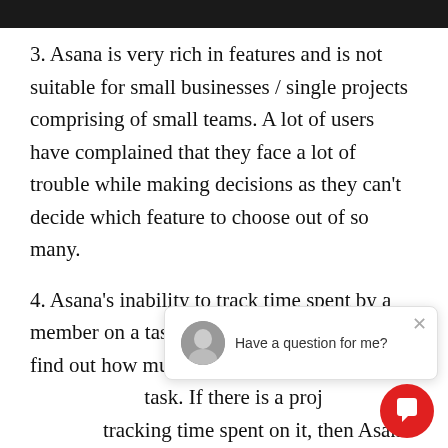3. Asana is very rich in features and is not suitable for small businesses / single projects comprising of small teams. A lot of users have complained that they face a lot of trouble while making decisions as they can't decide which feature to choose out of so many.
4. Asana's inability to track time spent by a member on a task means there is no way to find out how much time was spent on completing a task. If there is a project that requires tracking time spent on it, then Asana would need third party time tracking softwares.
5. Sometimes a file needs to be brought in from